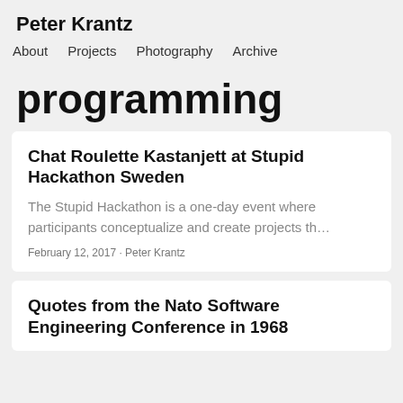Peter Krantz
About   Projects   Photography   Archive
programming
Chat Roulette Kastanjett at Stupid Hackathon Sweden
The Stupid Hackathon is a one-day event where participants conceptualize and create projects th…
February 12, 2017 · Peter Krantz
Quotes from the Nato Software Engineering Conference in 1968